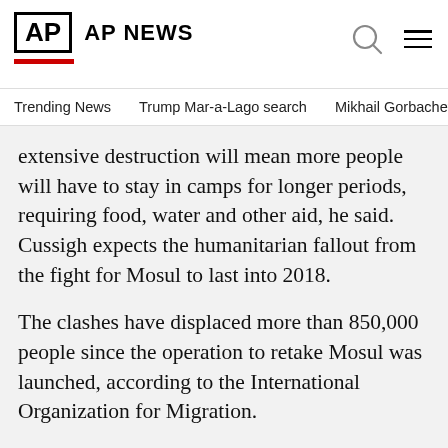AP  AP NEWS
Trending News    Trump Mar-a-Lago search    Mikhail Gorbachev d
extensive destruction will mean more people will have to stay in camps for longer periods, requiring food, water and other aid, he said. Cussigh expects the humanitarian fallout from the fight for Mosul to last into 2018.
The clashes have displaced more than 850,000 people since the operation to retake Mosul was launched, according to the International Organization for Migration.
The Islamic State group's media arm, the Aamaq news agency, reported fierce fighting on the outskirts of Mosul and in the neighborhoods of Bab Jadid, al-